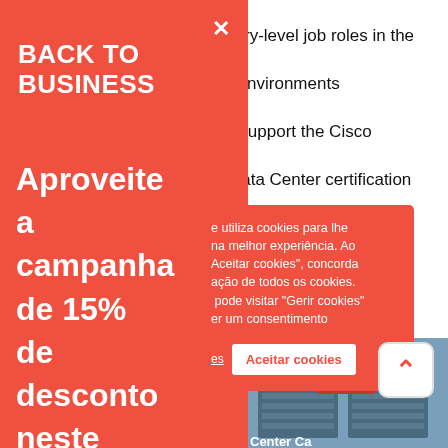Prepare for entry-level job roles in the high-demand field of data center environments
for courses that support the Cisco Certified Network Professional Data Center certification
through Cisco's hands-on learning and software n
[Figure (screenshot): Red promotional sidebar overlay with BACK TO BUSINESS header and discount campaign text in Portuguese: Aproveite a campanha de 15% de desconto neste curso até 15]
e utiliza cookies para lhe na melhor experiência. Ao Aceitar cookies", concorda ação de todos os cookies. pode visitar "Gerir cookies" er um consentimento
Aceitar cookies
[Figure (photo): Data center server racks photo in background bottom right, partially obscured. Text reads 'Center Ca']
[Figure (other): Scroll-to-top button with red chevron arrow on white background]